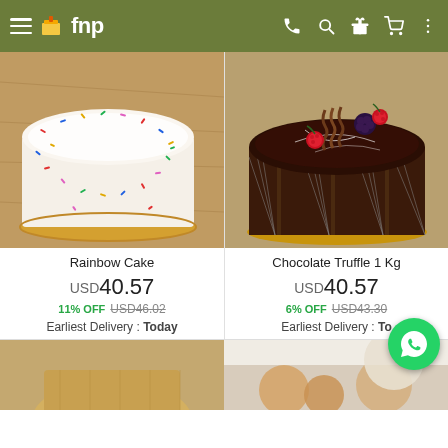fnp navigation bar
[Figure (screenshot): White Rainbow Cake with colorful sprinkles on a wooden board]
Rainbow Cake
USD40.57
11% OFF USD46.02
Earliest Delivery : Today
[Figure (screenshot): Chocolate Truffle 1 Kg cake with dark chocolate ganache, berries and chocolate decorations]
Chocolate Truffle 1 Kg
USD40.57
6% OFF USD43.30
Earliest Delivery : Today
[Figure (screenshot): Bottom partial product images - two more cake products partially visible]